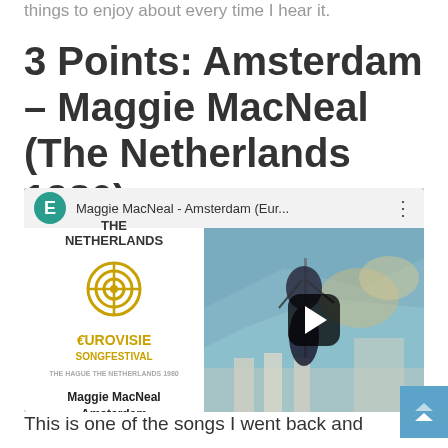things to enjoy about every time I hear it.
3 Points: Amsterdam – Maggie MacNeal (The Netherlands 1980)
[Figure (screenshot): YouTube video thumbnail for 'Maggie MacNeal - Amsterdam (Eur...' showing The Netherlands Eurovisie Songfestival entry, with a performer in a black dress on stage, and a play button overlay. Left panel shows country branding with 'THE NETHERLANDS', Eurovisie Songfestival logo, and artist/song name 'Maggie MacNeal Amsterdam'.]
This is one of the songs I went back and